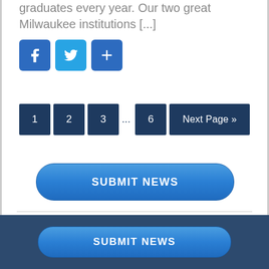graduates every year. Our two great Milwaukee institutions [...]
[Figure (screenshot): Social sharing icons: Facebook (blue f), Twitter (blue bird), Share/Plus (blue +)]
[Figure (screenshot): Pagination navigation: 1, 2, 3, ..., 6, Next Page »]
[Figure (screenshot): SUBMIT NEWS button - large rounded blue button]
FEATURED STORIES
[Figure (screenshot): SUBMIT NEWS button in dark blue footer bar]